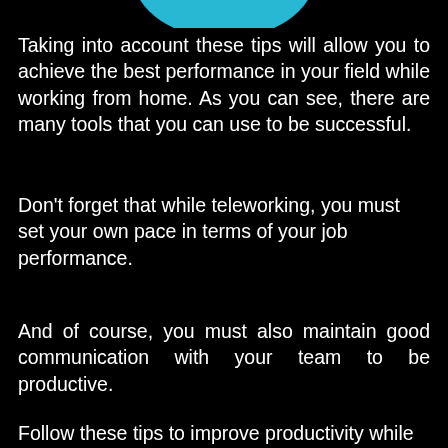[Figure (illustration): Teal/cyan circular arc or partial circle shape at the top center of the page]
Taking into account these tips will allow you to achieve the best performance in your field while working from home. As you can see, there are many tools that you can use to be successful.
Don't forget that while teleworking, you must set your own pace in terms of your job performance.
And of course, you must also maintain good communication with your team to be productive.
Follow these tips to improve productivity while